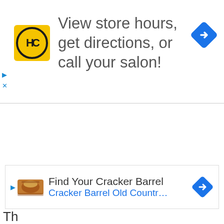[Figure (screenshot): Advertisement banner for HC Salon showing logo and text: View store hours, get directions, or call your salon! with a blue navigation arrow icon.]
ADVERTISEMENT
[Figure (screenshot): Advertisement banner for Find Your Cracker Barrel, Cracker Barrel Old Countr... with navigation icon.]